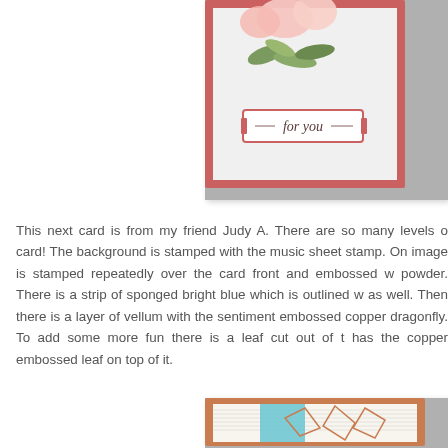[Figure (photo): Partial view of a handmade greeting card with a coral/red border, white interior, pink flower, green leaves, and a 'for you' sentiment in a decorative label. Photographed on a grey surface.]
This next card is from my friend Judy A. There are so many levels of this card! The background is stamped with the music sheet stamp. On image is stamped repeatedly over the card front and embossed with powder. There is a strip of sponged bright blue which is outlined w as well. Then there is a layer of vellum with the sentiment embossed copper dragonfly. To add some more fun there is a leaf cut out of t has the copper embossed leaf on top of it.
[Figure (photo): Partial view of a handmade card with a brown/copper border, white music sheet background, bright blue sponged strip, and leaf/dragonfly embossed elements. Photographed on a grey surface.]